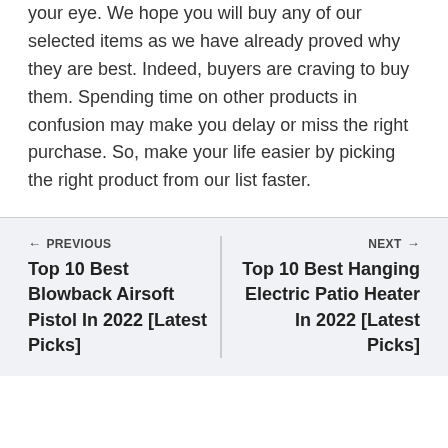your eye. We hope you will buy any of our selected items as we have already proved why they are best. Indeed, buyers are craving to buy them. Spending time on other products in confusion may make you delay or miss the right purchase. So, make your life easier by picking the right product from our list faster.
← PREVIOUS
Top 10 Best Blowback Airsoft Pistol In 2022 [Latest Picks]
NEXT →
Top 10 Best Hanging Electric Patio Heater In 2022 [Latest Picks]